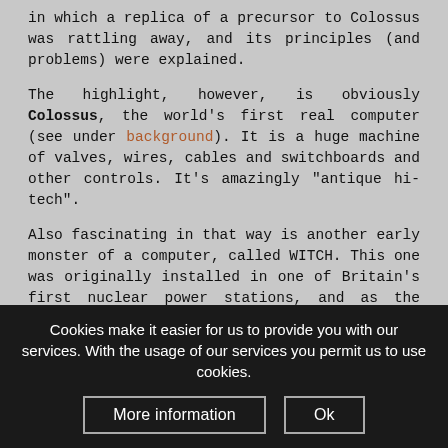in which a replica of a precursor to Colossus was rattling away, and its principles (and problems) were explained.
The highlight, however, is obviously Colossus, the world's first real computer (see under background). It is a huge machine of valves, wires, cables and switchboards and other controls. It's amazingly "antique hi-tech".
Also fascinating in that way is another early monster of a computer, called WITCH. This one was originally installed in one of Britain's first nuclear power stations, and as the museum warden pointed out, this is actually the world's oldest original computer that's still in working order (not as a rebuilt one like the museum's Colossus).
Cookies make it easier for us to provide you with our services. With the usage of our services you permit us to use cookies.